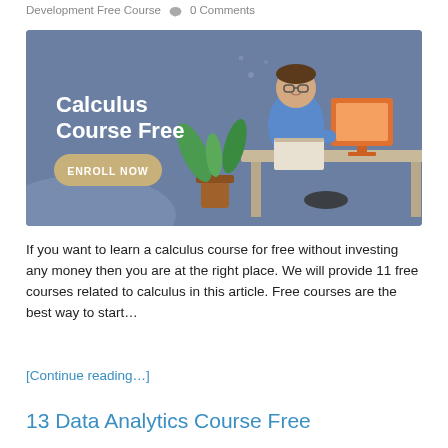Development Free Course   💬 0 Comments
[Figure (illustration): Banner image with dark blue-grey background showing text 'Calculus Course Free' with an 'ENROLL NOW' button on the left, and an illustrated character sitting at a desk with a computer on the right, with a plant in the foreground.]
If you want to learn a calculus course for free without investing any money then you are at the right place. We will provide 11 free courses related to calculus in this article. Free courses are the best way to start...
[Continue reading...]
13 Data Analytics Course Free